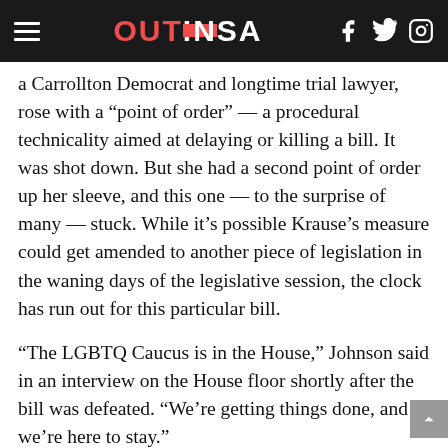OUTINSA
a Carrollton Democrat and longtime trial lawyer, rose with a “point of order” — a procedural technicality aimed at delaying or killing a bill. It was shot down. But she had a second point of order up her sleeve, and this one — to the surprise of many — stuck. While it’s possible Krause’s measure could get amended to another piece of legislation in the waning days of the legislative session, the clock has run out for this particular bill.
“The LGBTQ Caucus is in the House,” Johnson said in an interview on the House floor shortly after the bill was defeated. “We’re getting things done, and we’re here to stay.”
The defeat of Krause’s bill — which many LGBTQ advocates considered the most serious threat to reach